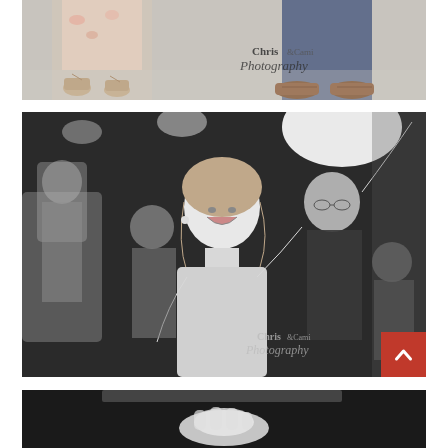[Figure (photo): Color photo close-up of people's feet and lower legs dancing at a wedding reception on a light-colored floor. A woman in a floral dress wearing wedge sandals and a man in blue trousers wearing brown dress shoes. 'Chris & Cami Photography' watermark visible in the lower right.]
[Figure (photo): Black and white photo of a woman laughing and dancing with arms raised at a wedding reception. She wears a sleeveless dress. A man with glasses and a suit jacket dances behind her. Other wedding guests visible in the background. 'Chris & Cami Photography' watermark in lower right. A red scroll-to-top button overlaid in the lower right corner.]
[Figure (photo): Black and white photo partially visible at the bottom of the page, showing what appears to be a hand or object on a dark surface, likely another wedding reception scene.]